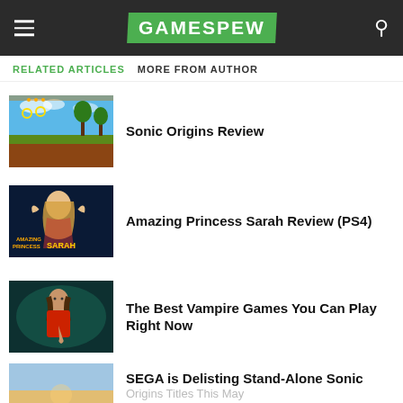GAMESPEW
RELATED ARTICLES   MORE FROM AUTHOR
Sonic Origins Review
Amazing Princess Sarah Review (PS4)
The Best Vampire Games You Can Play Right Now
SEGA is Delisting Stand-Alone Sonic Origins Titles This May